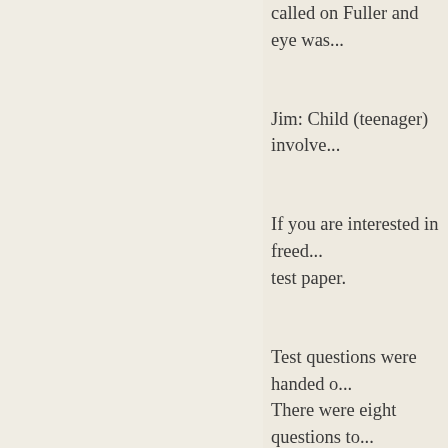called on Fuller and eye was...
Jim: Child (teenager) involve...
If you are interested in freed... test paper.
Test questions were handed o... There were eight questions to... help.  Questions were on soc...
Mother just returned from the... people have been able to acc... program is Nawabie, Marie L...
As requested I wrote at the e... socialism in the way and in th... various experiences would p...